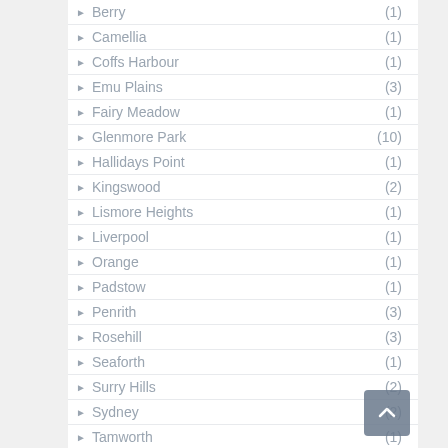Berry (1)
Camellia (1)
Coffs Harbour (1)
Emu Plains (3)
Fairy Meadow (1)
Glenmore Park (10)
Hallidays Point (1)
Kingswood (2)
Lismore Heights (1)
Liverpool (1)
Orange (1)
Padstow (1)
Penrith (3)
Rosehill (3)
Seaforth (1)
Surry Hills (2)
Sydney (2)
Tamworth (1)